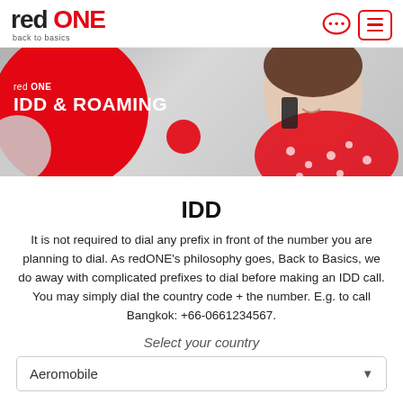red ONE back to basics
[Figure (photo): Banner image of a woman talking on a phone wearing a red polka-dot scarf, with a large red circle overlay containing the text 'red ONE IDD & ROAMING']
IDD
It is not required to dial any prefix in front of the number you are planning to dial. As redONE's philosophy goes, Back to Basics, we do away with complicated prefixes to dial before making an IDD call. You may simply dial the country code + the number. E.g. to call Bangkok: +66-0661234567.
Select your country
Aeromobile